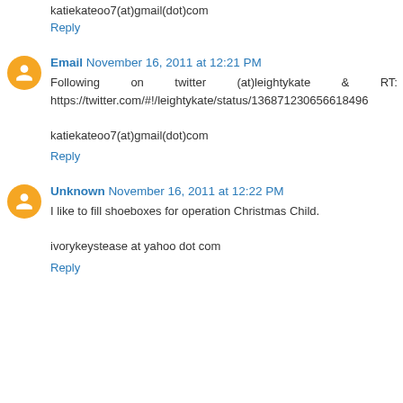katiekateoo7(at)gmail(dot)com
Reply
Email  November 16, 2011 at 12:21 PM
Following on twitter (at)leightykate & RT: https://twitter.com/#!/leightykate/status/136871230656618496

katiekateoo7(at)gmail(dot)com
Reply
Unknown  November 16, 2011 at 12:22 PM
I like to fill shoeboxes for operation Christmas Child.

ivorykeystease at yahoo dot com
Reply